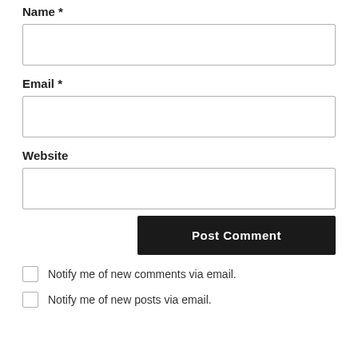Name *
[Figure (other): Empty text input field for Name]
Email *
[Figure (other): Empty text input field for Email]
Website
[Figure (other): Empty text input field for Website]
[Figure (other): Post Comment button, dark background, white bold text]
Notify me of new comments via email.
Notify me of new posts via email.